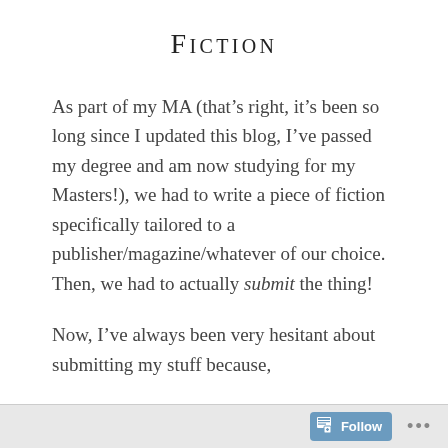Fiction
As part of my MA (that’s right, it’s been so long since I updated this blog, I’ve passed my degree and am now studying for my Masters!), we had to write a piece of fiction specifically tailored to a publisher/magazine/whatever of our choice.  Then, we had to actually submit the thing!
Now, I’ve always been very hesitant about submitting my stuff because,
Follow •••